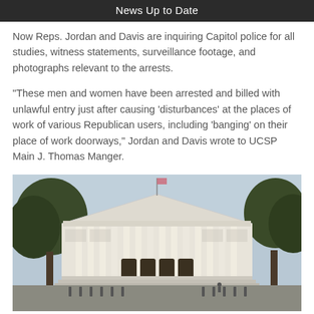News Up to Date
Now Reps. Jordan and Davis are inquiring Capitol police for all studies, witness statements, surveillance footage, and photographs relevant to the arrests.
“These men and women have been arrested and billed with unlawful entry just after causing ‘disturbances’ at the places of work of various Republican users, including ‘banging’ on their place of work doorways,” Jordan and Davis wrote to UCSP Main J. Thomas Manger.
[Figure (photo): Exterior photograph of a large neoclassical government building with white columns and steps, flanked by trees, taken from street level. A flag is visible at the top.]
WASHINGTON, D. C. – APRIL 19:  Longworth Property Business